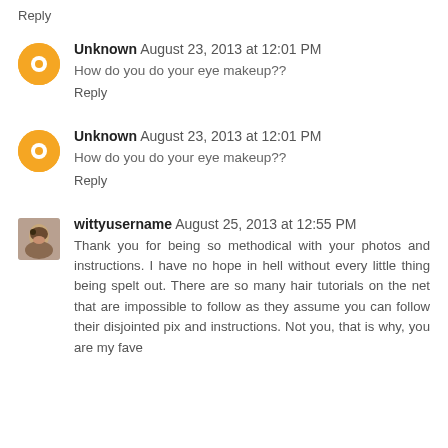Reply
Unknown  August 23, 2013 at 12:01 PM
How do you do your eye makeup??
Reply
Unknown  August 23, 2013 at 12:01 PM
How do you do your eye makeup??
Reply
wittyusername  August 25, 2013 at 12:55 PM
Thank you for being so methodical with your photos and instructions. I have no hope in hell without every little thing being spelt out. There are so many hair tutorials on the net that are impossible to follow as they assume you can follow their disjointed pix and instructions. Not you, that is why, you are my fave